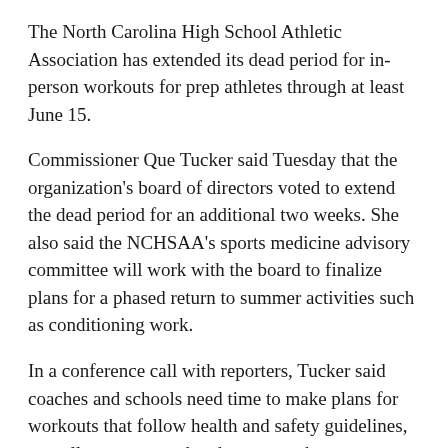The North Carolina High School Athletic Association has extended its dead period for in-person workouts for prep athletes through at least June 15.
Commissioner Que Tucker said Tuesday that the organization’s board of directors voted to extend the dead period for an additional two weeks. She also said the NCHSAA’s sports medicine advisory committee will work with the board to finalize plans for a phased return to summer activities such as conditioning work.
In a conference call with reporters, Tucker said coaches and schools need time to make plans for workouts that follow health and safety guidelines, as well as to ensure they have enough necessary sanitation supplies.
Tucker said officials remain “hopeful” that they can play football with at least some fans in attendance this